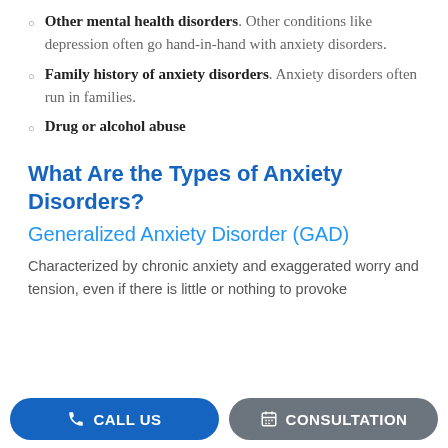Other mental health disorders. Other conditions like depression often go hand-in-hand with anxiety disorders.
Family history of anxiety disorders. Anxiety disorders often run in families.
Drug or alcohol abuse
What Are the Types of Anxiety Disorders?
Generalized Anxiety Disorder (GAD)
Characterized by chronic anxiety and exaggerated worry and tension, even if there is little or nothing to provoke
CALL US   CONSULTATION